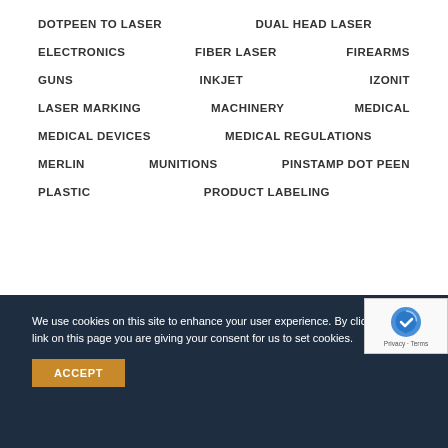DOTPEEN TO LASER
DUAL HEAD LASER
ELECTRONICS
FIBER LASER
FIREARMS
GUNS
INKJET
IZONIT
LASER MARKING
MACHINERY
MEDICAL
MEDICAL DEVICES
MEDICAL REGULATIONS
MERLIN
MUNITIONS
PINSTAMP DOT PEEN
PLASTIC
PRODUCT LABELING
We use cookies on this site to enhance your user experience. By clicking any link on this page you are giving your consent for us to set cookies.
ACCEPT